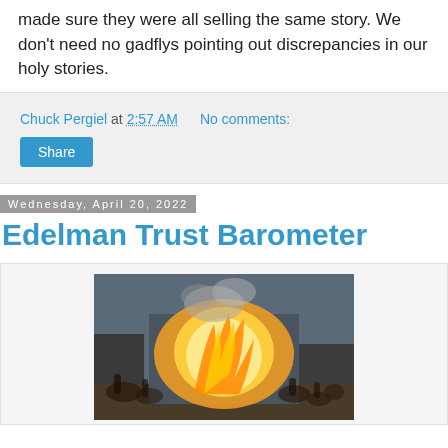made sure they were all selling the same story. We don't need no gadflys pointing out discrepancies in our holy stories.
Chuck Pergiel at 2:57 AM   No comments:
Share
Wednesday, April 20, 2022
Edelman Trust Barometer
[Figure (photo): Historical painting depicting a dramatic fire scene inside a large classical building, with figures in the foreground and bright orange flames and smoke in the background.]